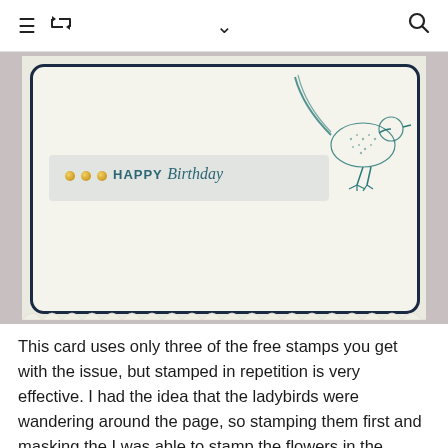≡ ↺ ∨ 🔍
[Figure (photo): A handmade birthday card with a cream/ivory scalloped cardstock base, navy blue border with rounded corners, a teal stamped pheasant bird on the right, a banner strip reading 'HAPPY Birthday' with three gold brad embellishments on the left, and decorative scalloped edge at bottom.]
This card uses only three of the free stamps you get with the issue, but stamped in repetition is very effective. I had the idea that the ladybirds were wandering around the page, so stamping them first and masking the I was able to stamp the flowers in the background and gradually build up a layer of ink to create the background. Again as I had